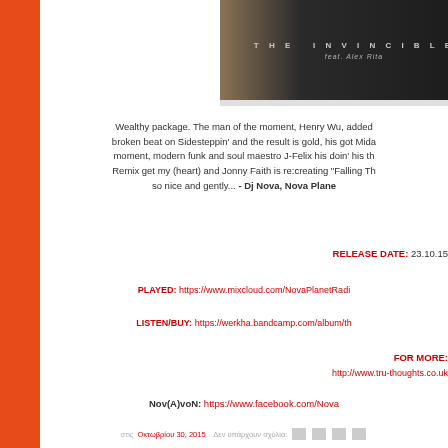[Figure (illustration): Album cover image with dark background showing 'THE INVINCIBLE feat. Alex Rita' text in grey/silver lettering]
Wealthy package. The man of the moment, Henry Wu, added broken beat on Sidesteppin' and the result is gold, his got Mida moment, modern funk and soul maestro J-Felix his doin' his th Remix get my (heart) and Jonny Faith is re:creating "Falling Th so nice and gently... - Dj Nova, Nova Plane
RELEASE DATE: 23.10.15
PLAYED: https://www.mixcloud.com/NovaPlanetRadi
LISTEN/BUY: https://werkha.bandcamp.com/album/th
FOR MORE:
http://www.tru-thoughts.co.uk
Nov(A)voN: https://www.facebook.com/Nova
στις Οκτωβρίου 30, 2015   Δεν υπάρχουν σχόλια: